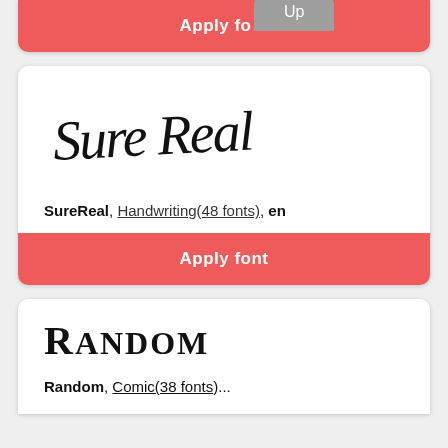[Figure (screenshot): Top card with 'Apply font' button (partially visible) and 'Up' badge/tab overlay at top]
[Figure (screenshot): Font card showing 'Sure Real' in handwriting style font]
SureReal, Handwriting(48 fonts), en
Apply font
[Figure (screenshot): Bottom card showing 'RANDOM' in comic/mixed-case font style]
Random, Comic(38 fonts)...